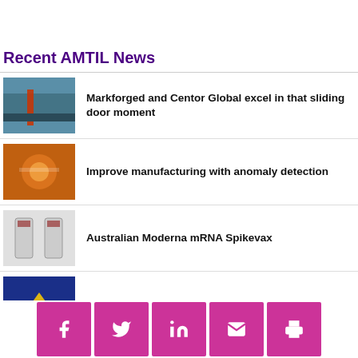Recent AMTIL News
Markforged and Centor Global excel in that sliding door moment
Improve manufacturing with anomaly detection
Australian Moderna mRNA Spikevax
Pilot Air for Luna Park
[Figure (infographic): Social sharing bar with icons for Facebook, Twitter, LinkedIn, email, and print]